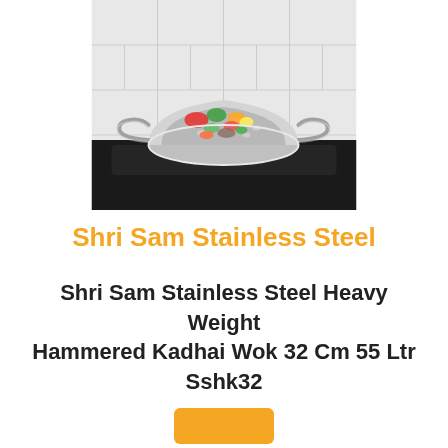[Figure (photo): A stainless steel hammered kadhai wok with two loop handles, filled with stir-fried colorful vegetables, placed on a black gas/induction stove. White tile background.]
Shri Sam Stainless Steel
Shri Sam Stainless Steel Heavy Weight Hammered Kadhai Wok 32 Cm 55 Ltr Sshk32